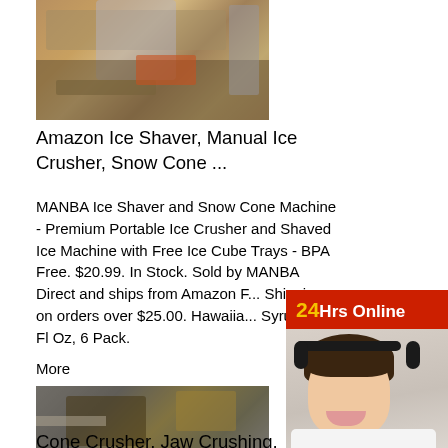[Figure (photo): Industrial crusher/mining equipment photo at top left]
Amazon Ice Shaver, Manual Ice Crusher, Snow Cone ...
MANBA Ice Shaver and Snow Cone Machine - Premium Portable Ice Crusher and Shaved Ice Machine with Free Ice Cube Trays - BPA Free. $20.99. In Stock. Sold by MANBA Direct and ships from Amazon F... Shipping on orders over $25.00. Hawaiia... Syrup, 16 Fl Oz, 6 Pack.
More
[Figure (photo): Industrial cone crusher / jaw crushing equipment photo]
Cone Crusher, Jaw Crushing, Impac... Stone Crushing...
[Figure (infographic): 24Hrs Online live chat widget with woman wearing headset, chat bubble, Need questions & suggestion? Chat Now button]